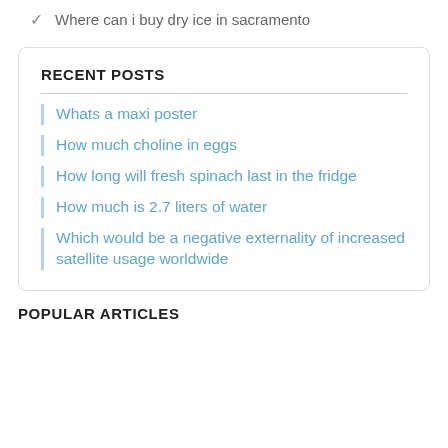Where can i buy dry ice in sacramento
RECENT POSTS
Whats a maxi poster
How much choline in eggs
How long will fresh spinach last in the fridge
How much is 2.7 liters of water
Which would be a negative externality of increased satellite usage worldwide
POPULAR ARTICLES